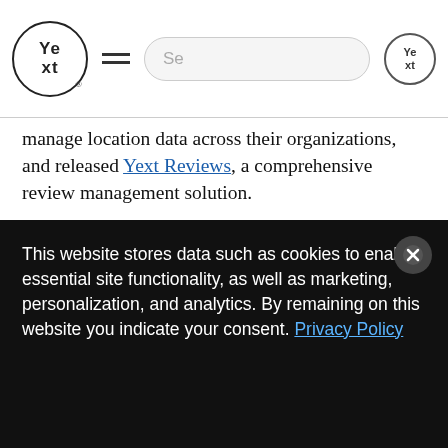Yext [logo] [hamburger menu] [search bar] [Yext icon]
manage location data across their organizations, and released Yext Reviews, a comprehensive review management solution.
This award adds to a growing number of recognitions, includingDeloitte's 2016 Technology Fast 500™, Crain's 2016 'Fast 50' List, and the Great Place to Work® 2016 Best Small and Medium Workplaces list, published by Fortune Magazine.
This website stores data such as cookies to enable essential site functionality, as well as marketing, personalization, and analytics. By remaining on this website you indicate your consent. Privacy Policy